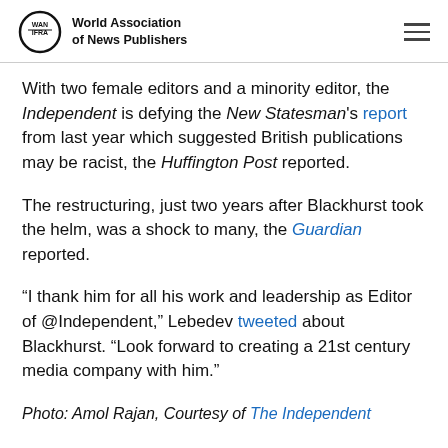World Association of News Publishers
With two female editors and a minority editor, the Independent is defying the New Statesman's report from last year which suggested British publications may be racist, the Huffington Post reported.
The restructuring, just two years after Blackhurst took the helm, was a shock to many, the Guardian reported.
“I thank him for all his work and leadership as Editor of @Independent,” Lebedev tweeted about Blackhurst. “Look forward to creating a 21st century media company with him.”
Photo: Amol Rajan, Courtesy of The Independent